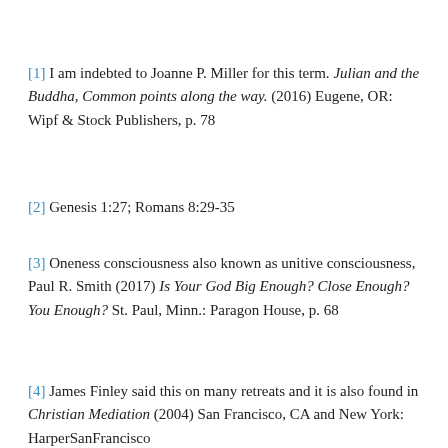[1] I am indebted to Joanne P. Miller for this term. Julian and the Buddha, Common points along the way. (2016) Eugene, OR: Wipf & Stock Publishers, p. 78
[2] Genesis 1:27; Romans 8:29-35
[3] Oneness consciousness also known as unitive consciousness, Paul R. Smith (2017) Is Your God Big Enough? Close Enough? You Enough? St. Paul, Minn.: Paragon House, p. 68
[4] James Finley said this on many retreats and it is also found in Christian Mediation (2004) San Francisco, CA and New York: HarperSanFrancisco